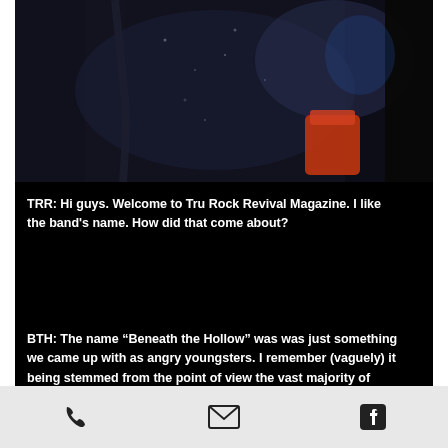[Figure (photo): Dark concert/band photo showing figures in dark clothing, partially visible, with a reddish/orange element in the lower right]
TRR:  Hi guys.  Welcome to Tru Rock Revival Magazine.  I like the band's name.  How did that come about?
BTH:  The name “Beneath the Hollow” was was just something we came up with as angry youngsters. I remember (vaguely) it being stemmed from the point of view the vast majority of society bow and follow all these entities void of any real substance. Be it religion, political figures, reality stars, excess culture, it seems all the people on the outside of the norm that had different values, or didn’t
phone  email  facebook